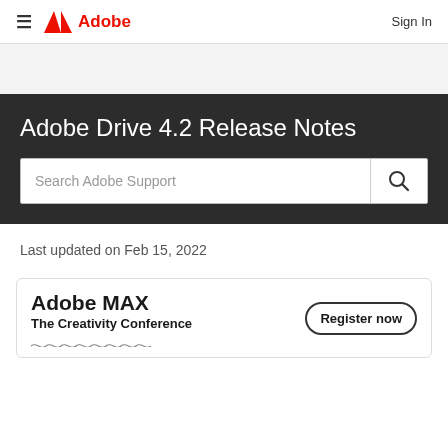≡  Adobe  Sign In
Adobe Drive 4.2 Release Notes
Search Adobe Support
Last updated on Feb 15, 2022
[Figure (infographic): Adobe MAX The Creativity Conference banner with Register now button]